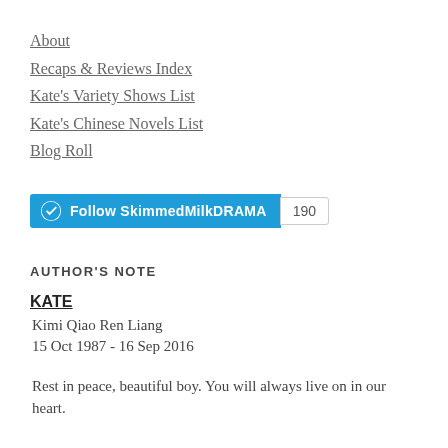About
Recaps & Reviews Index
Kate's Variety Shows List
Kate's Chinese Novels List
Blog Roll
[Figure (other): WordPress Follow button for SkimmedMilkDRAMA with follower count 190]
AUTHOR'S NOTE
KATE
Kimi Qiao Ren Liang
15 Oct 1987 - 16 Sep 2016
Rest in peace, beautiful boy. You will always live on in our heart.